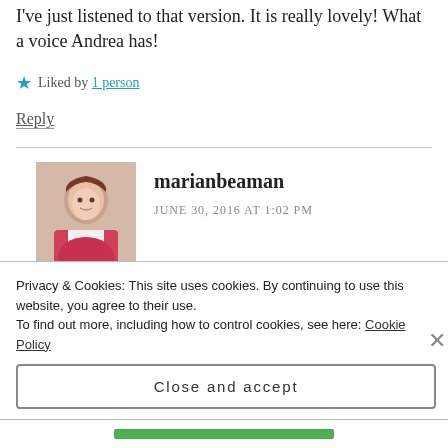I've just listened to that version. It is really lovely! What a voice Andrea has!
Liked by 1 person
Reply
marianbeaman
JUNE 30, 2016 AT 1:02 PM
There is also a rendition by Nat King Cole
Privacy & Cookies: This site uses cookies. By continuing to use this website, you agree to their use. To find out more, including how to control cookies, see here: Cookie Policy
Close and accept